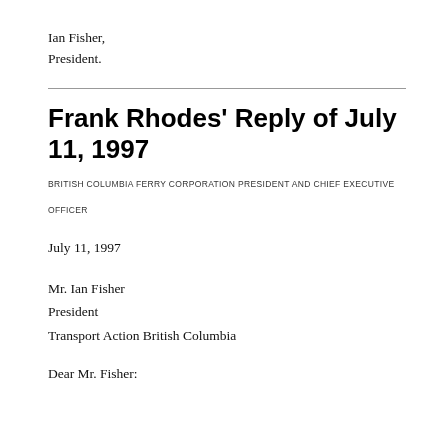Ian Fisher,
President.
Frank Rhodes' Reply of July 11, 1997
BRITISH COLUMBIA FERRY CORPORATION PRESIDENT AND CHIEF EXECUTIVE OFFICER
July 11, 1997
Mr. Ian Fisher
President
Transport Action British Columbia
Dear Mr. Fisher: